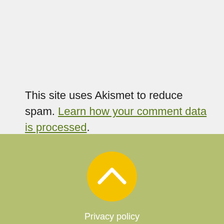This site uses Akismet to reduce spam. Learn how your comment data is processed.
[Figure (other): Yellow circular button with white chevron/caret pointing upward, on an olive-green background, used as a scroll-to-top button]
Privacy policy